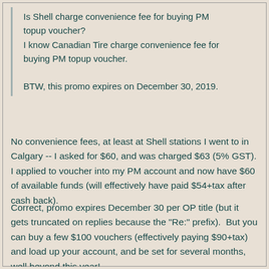Is Shell charge convenience fee for buying PM topup voucher?
I know Canadian Tire charge convenience fee for buying PM topup voucher.

BTW, this promo expires on December 30, 2019.
No convenience fees, at least at Shell stations I went to in Calgary -- I asked for $60, and was charged $63 (5% GST). I applied to voucher into my PM account and now have $60 of available funds (will effectively have paid $54+tax after cash back).
Correct, promo expires December 30 per OP title (but it gets truncated on replies because the "Re:" prefix).  But you can buy a few $100 vouchers (effectively paying $90+tax) and load up your account, and be set for several months, well beyond this year!